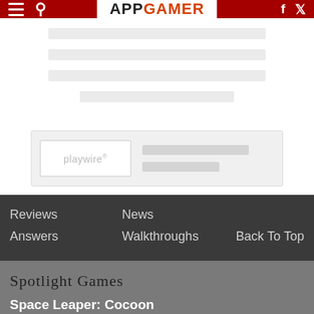APP GAMER
[Figure (other): Loading skeleton placeholder with gray bars in content area]
[Figure (other): Playwire advertisement placeholder with logo and skeleton bars]
Reviews   News   Answers   Walkthroughs   Back To Top
Spotlight Games
Space Leaper: Cocoon
Survivor.io
Solitaire Grand Harvest